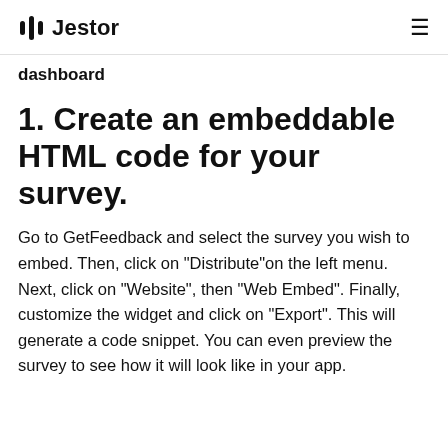Jestor
dashboard
1. Create an embeddable HTML code for your survey.
Go to GetFeedback and select the survey you wish to embed. Then, click on “Distribute”on the left menu. Next, click on “Website”, then “Web Embed”. Finally, customize the widget and click on “Export”. This will generate a code snippet. You can even preview the survey to see how it will look like in your app.